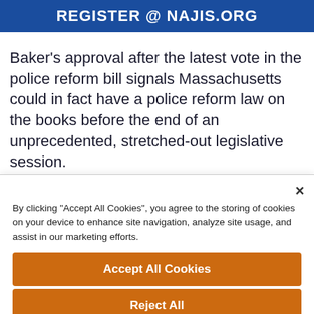[Figure (other): Blue banner with white bold text: REGISTER @ NAJIS.ORG]
Baker's approval after the latest vote in the police reform bill signals Massachusetts could in fact have a police reform law on the books before the end of an unprecedented, stretched-out legislative session.
By clicking "Accept All Cookies", you agree to the storing of cookies on your device to enhance site navigation, analyze site usage, and assist in our marketing efforts.
Accept All Cookies
Reject All
Cookies Settings